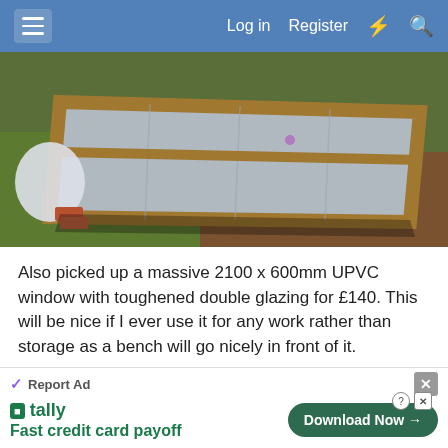Log in   Register
[Figure (photo): Large wooden-framed panel (likely UPVC window or shed wall section) laid flat on grass and soil outdoors, with bricks and materials nearby]
Also picked up a massive 2100 x 600mm UPVC window with toughened double glazing for £140. This will be nice if I ever use it for any work rather than storage as a bench will go nicely in front of it.
Are 2 x 3s adequate for the wall framing? Spacing? Have read up a little on the process of framing the
Report Ad
tally Fast credit card payoff  Download Now →